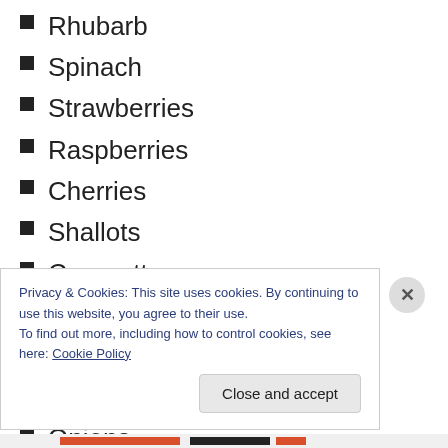Rhubarb
Spinach
Strawberries
Raspberries
Cherries
Shallots
Courgettes
Broad Beans
Shallots
Garlic
Onions
Privacy & Cookies: This site uses cookies. By continuing to use this website, you agree to their use.
To find out more, including how to control cookies, see here: Cookie Policy